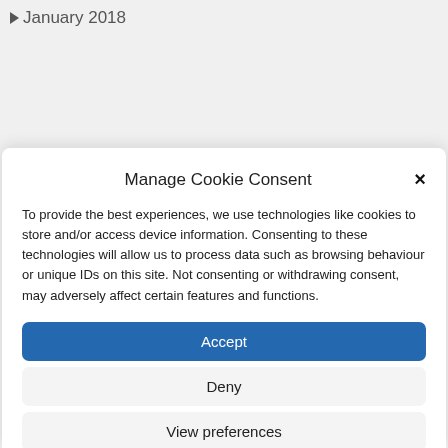▶ January 2018
Manage Cookie Consent
To provide the best experiences, we use technologies like cookies to store and/or access device information. Consenting to these technologies will allow us to process data such as browsing behaviour or unique IDs on this site. Not consenting or withdrawing consent, may adversely affect certain features and functions.
Accept
Deny
View preferences
Cookie Policy   Privacy Policy